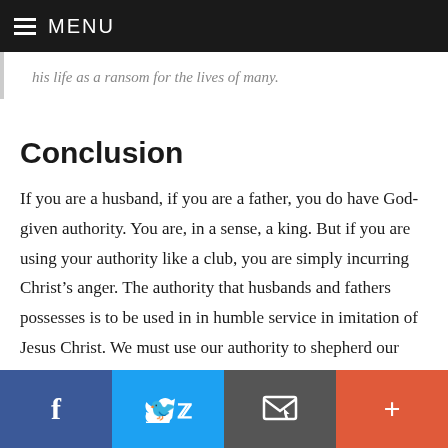MENU
his life as a ransom for the lives of many.
Conclusion
If you are a husband, if you are a father, you do have God-given authority. You are, in a sense, a king. But if you are using your authority like a club, you are simply incurring Christ's anger. The authority that husbands and fathers possesses is to be used in in humble service in imitation of Jesus Christ. We must use our authority to shepherd our families, lovingly, patiently and sacrificially.
Facebook | Twitter | Email | More